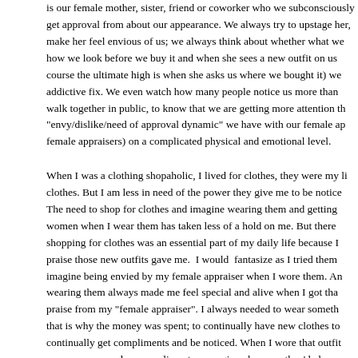is our female mother, sister, friend or coworker who we subconsciously get approval from about our appearance. We always try to upstage her, make her feel envious of us; we always think about whether what we how we look before we buy it and when she sees a new outfit on us course the ultimate high is when she asks us where we bought it) we addictive fix. We even watch how many people notice us more than walk together in public, to know that we are getting more attention th "envy/dislike/need of approval dynamic" we have with our female ap female appraisers) on a complicated physical and emotional level.
When I was a clothing shopaholic, I lived for clothes, they were my li clothes. But I am less in need of the power they give me to be notice The need to shop for clothes and imagine wearing them and getting women when I wear them has taken less of a hold on me. But there shopping for clothes was an essential part of my daily life because I praise those new outfits gave me.  I would  fantasize as I tried them imagine being envied by my female appraiser when I wore them. An wearing them always made me feel special and alive when I got tha praise from my "female appraiser". I always needed to wear someth that is why the money was spent; to continually have new clothes to continually get compliments and be noticed. When I wore that outfit new anymore and no compliments were given because they'd alrea wore it the first time. So that outfit did not serve its purpose any mor I wore it in front of a different female appraiser who never saw it be